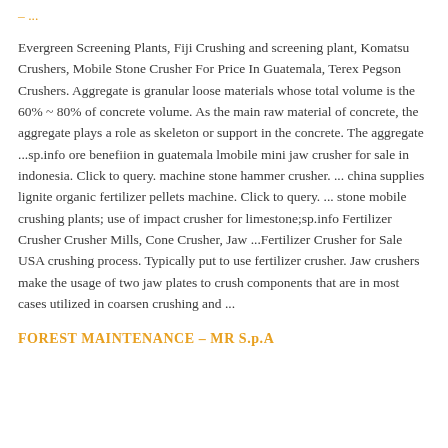– ...
Evergreen Screening Plants, Fiji Crushing and screening plant, Komatsu Crushers, Mobile Stone Crusher For Price In Guatemala, Terex Pegson Crushers. Aggregate is granular loose materials whose total volume is the 60% ~ 80% of concrete volume. As the main raw material of concrete, the aggregate plays a role as skeleton or support in the concrete. The aggregate ...sp.info ore benefiion in guatemala lmobile mini jaw crusher for sale in indonesia. Click to query. machine stone hammer crusher. ... china supplies lignite organic fertilizer pellets machine. Click to query. ... stone mobile crushing plants; use of impact crusher for limestone;sp.info Fertilizer Crusher Crusher Mills, Cone Crusher, Jaw ...Fertilizer Crusher for Sale USA crushing process. Typically put to use fertilizer crusher. Jaw crushers make the usage of two jaw plates to crush components that are in most cases utilized in coarsen crushing and ...
FOREST MAINTENANCE – MR S.p.A